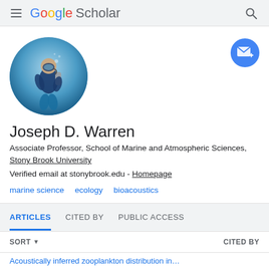Google Scholar
[Figure (photo): Circular profile photo of a scuba diver underwater with blue water background]
Joseph D. Warren
Associate Professor, School of Marine and Atmospheric Sciences, Stony Brook University
Verified email at stonybrook.edu - Homepage
marine science
ecology
bioacoustics
ARTICLES  CITED BY  PUBLIC ACCESS
SORT  CITED BY